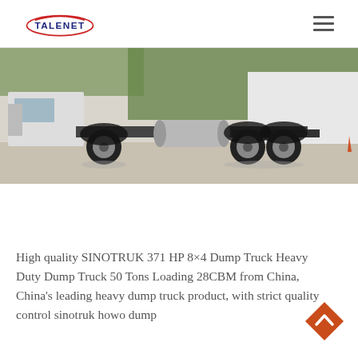TALENET
[Figure (photo): Side view of a SINOTRUK heavy duty dump truck/tractor unit on a concrete surface, showing rear dual axles with large tires and a metallic fuel/air tank, with trees and white wall in background.]
High quality SINOTRUK 371 HP 8×4 Dump Truck Heavy Duty Dump Truck 50 Tons Loading 28CBM from China, China's leading heavy dump truck product, with strict quality control sinotruk howo dump truck factories, producing high quality sinotruk howo dump